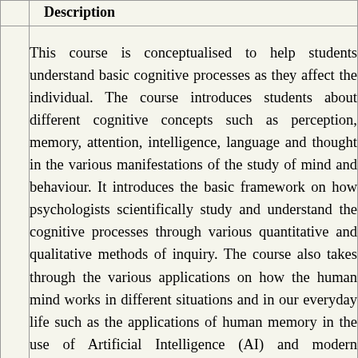Description
This course is conceptualised to help students understand basic cognitive processes as they affect the individual. The course introduces students about different cognitive concepts such as perception, memory, attention, intelligence, language and thought in the various manifestations of the study of mind and behaviour. It introduces the basic framework on how psychologists scientifically study and understand the cognitive processes through various quantitative and qualitative methods of inquiry. The course also takes through the various applications on how the human mind works in different situations and in our everyday life such as the applications of human memory in the use of Artificial Intelligence (AI) and modern machines. Students will have the opportunity to examine these